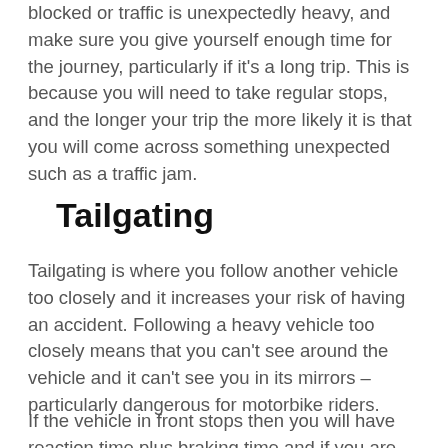blocked or traffic is unexpectedly heavy, and make sure you give yourself enough time for the journey, particularly if it's a long trip. This is because you will need to take regular stops, and the longer your trip the more likely it is that you will come across something unexpected such as a traffic jam.
Tailgating
Tailgating is where you follow another vehicle too closely and it increases your risk of having an accident. Following a heavy vehicle too closely means that you can't see around the vehicle and it can't see you in its mirrors – particularly dangerous for motorbike riders.
If the vehicle in front stops then you will have reaction time plus braking time and if you are